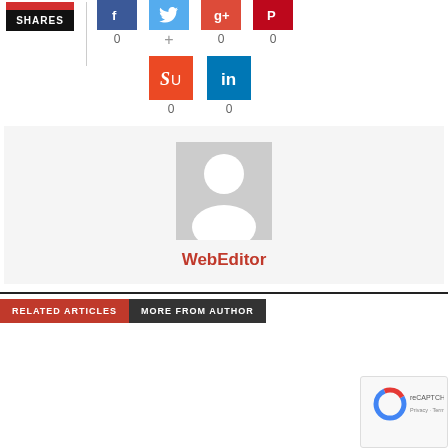[Figure (infographic): Social sharing widget with SHARES label, social media buttons (Facebook, Google+, Twitter, Pinterest, StumbleUpon, LinkedIn) and counts all showing 0]
[Figure (photo): Author box with grey placeholder avatar and WebEditor name in red]
WebEditor
RELATED ARTICLES  MORE FROM AUTHOR
[Figure (other): reCAPTCHA widget overlay bottom right]